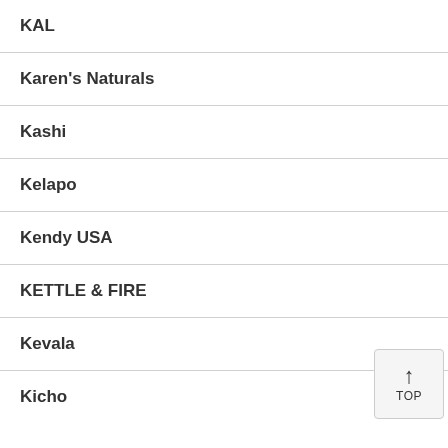KAL
Karen's Naturals
Kashi
Kelapo
Kendy USA
KETTLE & FIRE
Kevala
Kicho